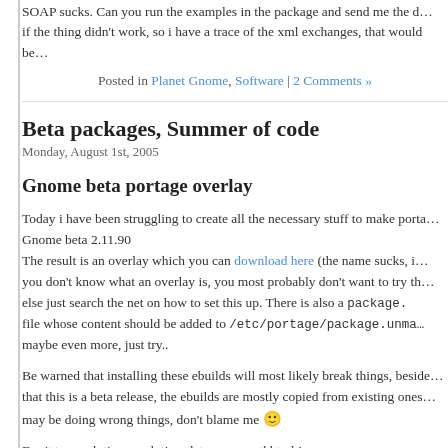SOAP sucks. Can you run the examples in the package and send me the d... if the thing didn't work, so i have a trace of the xml exchanges, that would be...
Posted in Planet Gnome, Software | 2 Comments »
Beta packages, Summer of code
Monday, August 1st, 2005
Gnome beta portage overlay
Today i have been struggling to create all the necessary stuff to make porta... Gnome beta 2.11.90
The result is an overlay which you can download here (the name sucks, i... you don't know what an overlay is, you most probably don't want to try th... else just search the net on how to set this up. There is also a package. file whose content should be added to /etc/portage/package.unma maybe even more, just try..
Be warned that installing these ebuilds will most likely break things, beside... that this is a beta release, the ebuilds are mostly copied from existing ones... may be doing wrong things, don't blame me 🙂
Don't try evolution, evolution-data-server, gtkhtml !
I also included most recent dbus and hal from gentopia overlay, for complet... you know any more appropriate place for this, just tell me, or feel free to co...